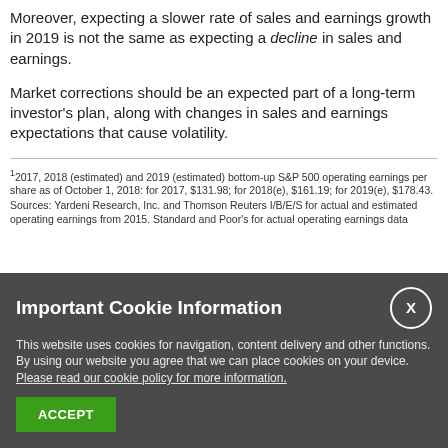Moreover, expecting a slower rate of sales and earnings growth in 2019 is not the same as expecting a decline in sales and earnings.
Market corrections should be an expected part of a long-term investor's plan, along with changes in sales and earnings expectations that cause volatility.
1 2017, 2018 (estimated) and 2019 (estimated) bottom-up S&P 500 operating earnings per share as of October 1, 2018: for 2017, $131.98; for 2018(e), $161.19; for 2019(e), $178.43. Sources: Yardeni Research, Inc. and Thomson Reuters I/B/E/S for actual and estimated operating earnings from 2015. Standard and Poor's for actual operating earnings data through 2014.